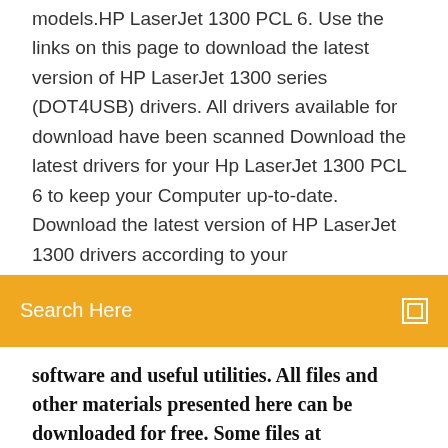models.HP LaserJet 1300 PCL 6. Use the links on this page to download the latest version of HP LaserJet 1300 series (DOT4USB) drivers. All drivers available for download have been scanned Download the latest drivers for your Hp LaserJet 1300 PCL 6 to keep your Computer up-to-date. Download the latest version of HP LaserJet 1300 drivers according to your
[Figure (other): Orange search bar with 'Search Here' text and a small icon on the right]
software and useful utilities. All files and other materials presented here can be downloaded for free. Some files at Helpjet.net could be packed with winzip or winrar software.
Description. Download and install HP Laserjet 1300 Wireless printer driver updates to enhance the performance of print, copy, scan, fax, USB, wi-fi, utility driver for windows 7, 8, 10 operating system laptop and PC.. Download Updated HP 1300 Printer Drivers For Windows 32-Bit / 64-Bit OS Downloaded MS drivers don't recognize Laser jet 1300 printer. Tried USB-2 and